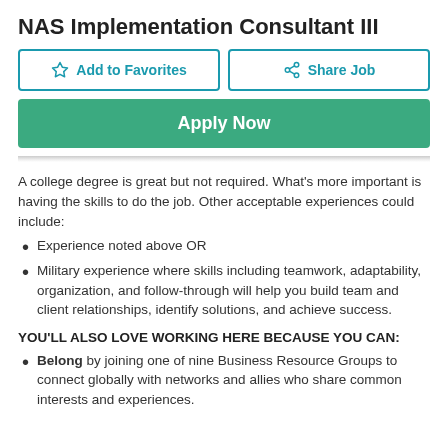NAS Implementation Consultant III
Add to Favorites | Share Job | Apply Now
A college degree is great but not required. What's more important is having the skills to do the job. Other acceptable experiences could include:
Experience noted above OR
Military experience where skills including teamwork, adaptability, organization, and follow-through will help you build team and client relationships, identify solutions, and achieve success.
YOU'LL ALSO LOVE WORKING HERE BECAUSE YOU CAN:
Belong by joining one of nine Business Resource Groups to connect globally with networks and allies who share common interests and experiences.